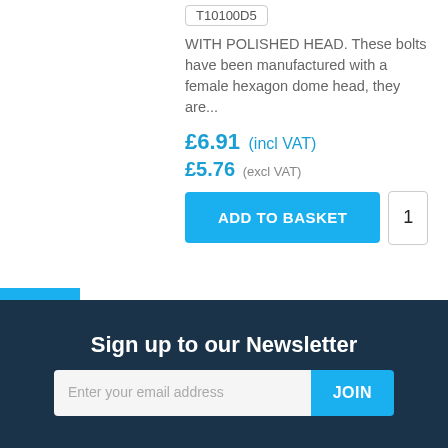T10100D5
WITH POLISHED HEAD. These bolts have been manufactured with a female hexagon dome head, they are...
£6.91 (incl VAT)
£5.76 (excl VAT)
ADD TO BASKET  1
Show 12 per page
Sign up to our Newsletter
Enter your email address  JOIN